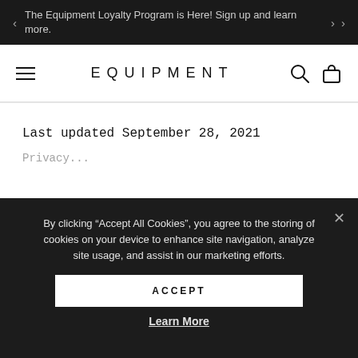The Equipment Loyalty Program is Here! Sign up and learn more.
EQUIPMENT
Last updated September 28, 2021
By clicking “Accept All Cookies”, you agree to the storing of cookies on your device to enhance site navigation, analyze site usage, and assist in our marketing efforts.
ACCEPT
Learn More